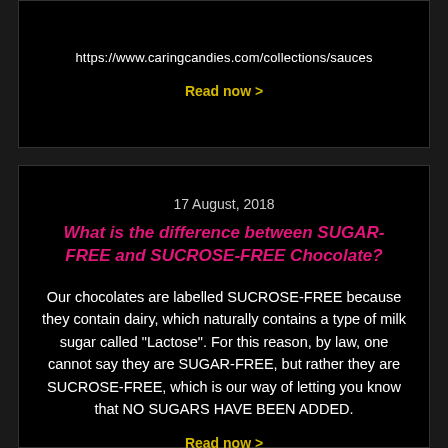https://www.caringcandies.com/collections/sauces
Read now >
17 August, 2018
What is the difference between SUGAR-FREE and SUCROSE-FREE Chocolate?
Our chocolates are labelled SUCROSE-FREE because they contain dairy, which naturally contains a type of milk sugar called "Lactose". For this reason, by law, one cannot say they are SUGAR-FREE, but rather they are SUCROSE-FREE, which is our way of letting you know that NO SUGARS HAVE BEEN ADDED.
Read now >